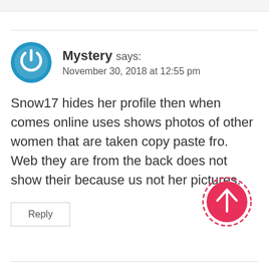[Figure (illustration): Gray rounded rectangle placeholder at top left]
Mystery says:
November 30, 2018 at 12:55 pm
Snow17 hides her profile then when comes online uses shows photos of other women that are taken copy paste fro. Web they are from the back does not show their because us not her pictures.
Reply